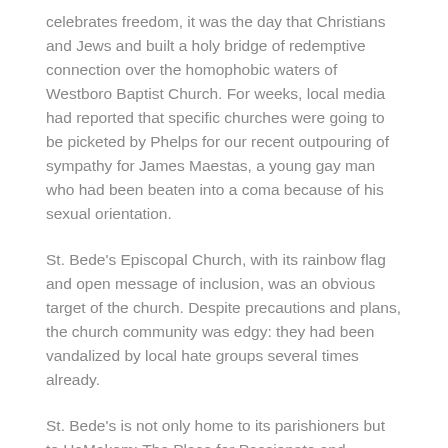celebrates freedom, it was the day that Christians and Jews and built a holy bridge of redemptive connection over the homophobic waters of Westboro Baptist Church. For weeks, local media had reported that specific churches were going to be picketed by Phelps for our recent outpouring of sympathy for James Maestas, a young gay man who had been beaten into a coma because of his sexual orientation.
St. Bede's Episcopal Church, with its rainbow flag and open message of inclusion, was an obvious target of the church. Despite precautions and plans, the church community was edgy: they had been vandalized by local hate groups several times already.
St. Bede's is not only home to its parishioners but to HaMakom: The Place for Passionate and Progressive Judaism. Despite Phelps' arrival on a major Jewish holiday, our community immediately pledged its support